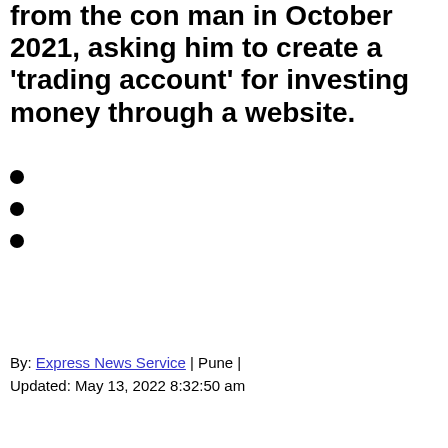from the con man in October 2021, asking him to create a 'trading account' for investing money through a website.
By: Express News Service | Pune | Updated: May 13, 2022 8:32:50 am